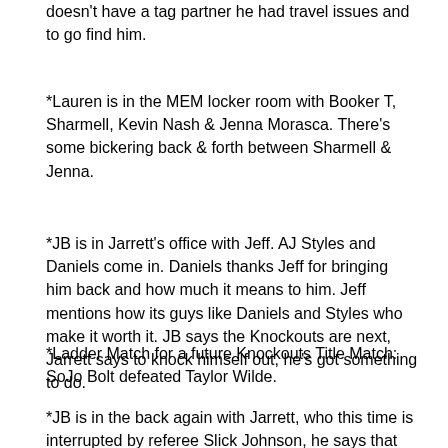doesn't have a tag partner he had travel issues and to go find him.
*Lauren is in the MEM locker room with Booker T, Sharmell, Kevin Nash & Jenna Morasca. There's some bickering back & forth between Sharmell & Jenna.
*JB is in Jarrett's office with Jeff. AJ Styles and Daniels come in. Daniels thanks Jeff for bringing him back and how much it means to him. Jeff mentions how its guys like Daniels and Styles who make it worth it. JB says the Knockouts are next, Jarrett says to knock himself out, he's got something to do.
*Ladder Match for a future Knockouts Title Match: SoJo Bolt defeated Taylor Wilde.
*JB is in the back again with Jarrett, who this time is interrupted by referee Slick Johnson, he says that Jeff's daughter called and its